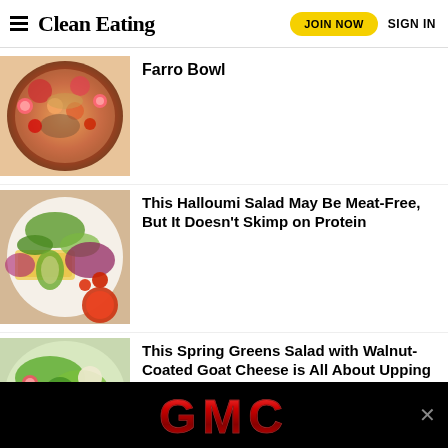Clean Eating — JOIN NOW  SIGN IN
Farro Bowl
[Figure (photo): Overhead shot of a colorful farro bowl with vegetables, greens, and sauces]
This Halloumi Salad May Be Meat-Free, But It Doesn't Skimp on Protein
[Figure (photo): Plate with halloumi cheese, mixed green salad, and a red dipping sauce]
This Spring Greens Salad with Walnut-Coated Goat Cheese is All About Upping Your Energy
[Figure (photo): Spring greens salad with goat cheese and walnuts]
[Figure (logo): GMC advertisement banner with red GMC logo on black background]